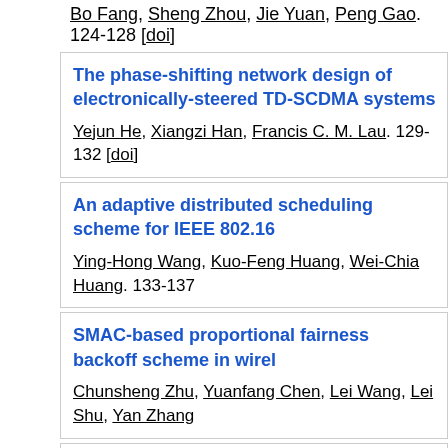Bo Fang, Sheng Zhou, Jie Yuan, Peng Gao. 124-128 [doi]
The phase-shifting network design of electronically-steered TD-CDMA systems
Yejun He, Xiangzi Han, Francis C. M. Lau. 129-132 [doi]
An adaptive distributed scheduling scheme for IEEE 802.16
Ying-Hong Wang, Kuo-Feng Huang, Wei-Chia Huang. 133-137
SMAC-based proportional fairness backoff scheme in wire...
Chunsheng Zhu, Yuanfang Chen, Lei Wang, Lei Shu, Yan Zhang
Application of Taboo Search and Genetic Algorithm in planning and optimization of UMTS radio networks
Bahareh Jalili, Mehrdad Dianati. 143-147 [doi]
Modulation-adaptive cooperation in Rayleigh fading channels with CSI